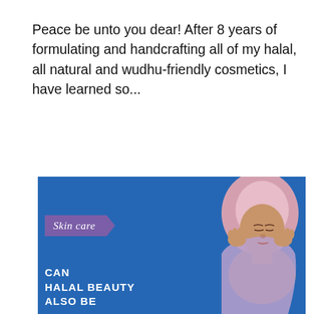Peace be unto you dear! After 8 years of formulating and handcrafting all of my halal, all natural and wudhu-friendly cosmetics, I have learned so...
READ MORE
[Figure (illustration): Blue promotional banner for halal beauty / skin care blog post. Shows a woman in a pink/purple hijab with hands on her temples and eyes closed. In the upper left is a purple pentagon-shaped badge with 'Skin care' in white italic script. Below that in white bold uppercase text reads: CAN HALAL BEAUTY ALSO BE]